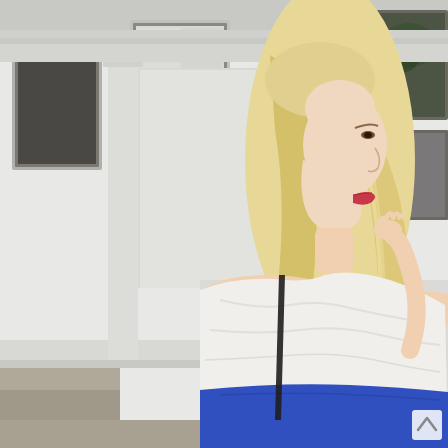[Figure (photo): A young blonde woman with long straight blonde hair viewed in profile (facing right), wearing a white off-the-shoulder top and a bright blue skirt, standing on a sidewalk in front of a white classical European building facade with tall windows. She has red lips and one hand raised near her chest. A small white upward-pointing chevron/arrow icon is visible in the bottom-right corner of the image.]